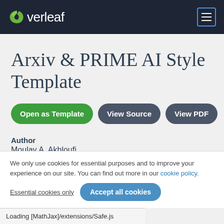Overleaf
Arxiv & PRIME AI Style Template
Open as Template | View Source | View PDF
Author
Moulay A. Akhloufi
We only use cookies for essential purposes and to improve your experience on our site. You can find out more in our cookie policy.
Essential cookies only  Accept all cookies
Loading [MathJax]/extensions/Safe.js